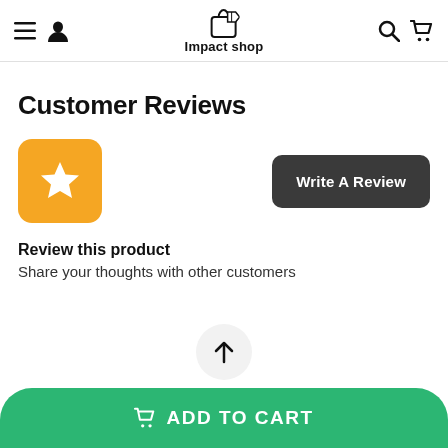Impact shop
Customer Reviews
[Figure (illustration): Orange rounded square badge with a white star icon, and a dark gray 'Write A Review' button]
Review this product
Share your thoughts with other customers
[Figure (illustration): Light gray circular scroll-to-top button with an upward arrow]
ADD TO CART